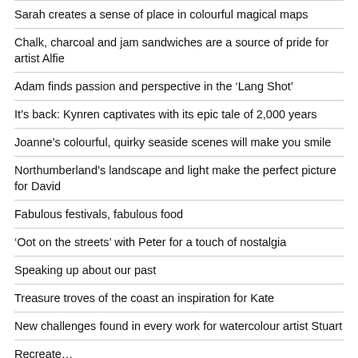Sarah creates a sense of place in colourful magical maps
Chalk, charcoal and jam sandwiches are a source of pride for artist Alfie
Adam finds passion and perspective in the ‘Lang Shot’
It’s back: Kynren captivates with its epic tale of 2,000 years
Joanne’s colourful, quirky seaside scenes will make you smile
Northumberland’s landscape and light make the perfect picture for David
Fabulous festivals, fabulous food
‘Oot on the streets’ with Peter for a touch of nostalgia
Speaking up about our past
Treasure troves of the coast an inspiration for Kate
New challenges found in every work for watercolour artist Stuart
Recreate…